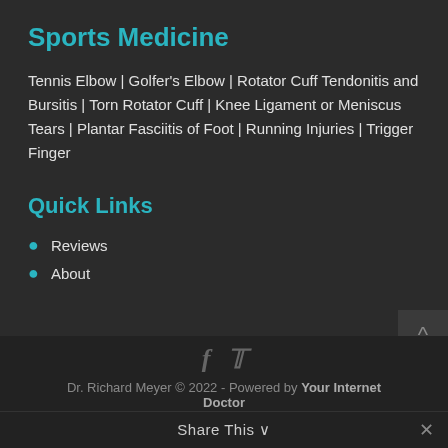Sports Medicine
Tennis Elbow | Golfer's Elbow | Rotator Cuff Tendonitis and Bursitis | Torn Rotator Cuff | Knee Ligament or Meniscus Tears | Plantar Fasciitis of Foot | Running Injuries | Trigger Finger
Quick Links
Reviews
About
Dr. Richard Meyer © 2022 - Powered by Your Internet Doctor
Share This ∨